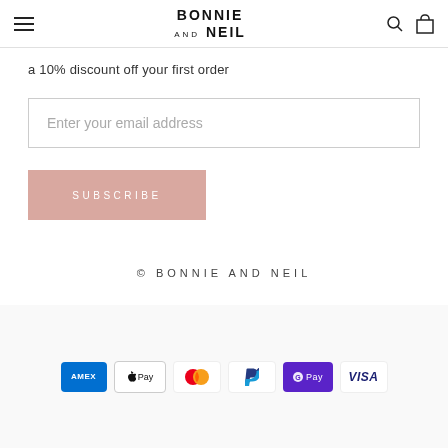BONNIE AND NEIL
a 10% discount off your first order
Enter your email address
SUBSCRIBE
© BONNIE AND NEIL
[Figure (other): Payment method icons: American Express, Apple Pay, Mastercard, PayPal, Google Pay (G Pay), Visa]